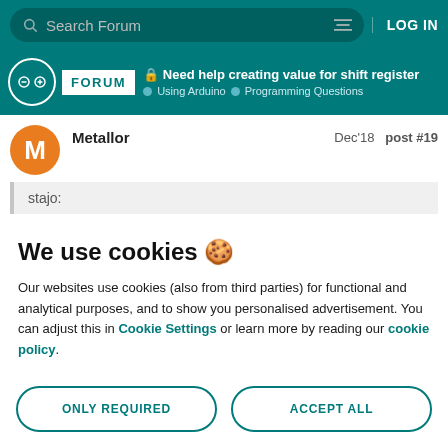Search Forum | LOG IN
🔒 Need help creating value for shift register | Using Arduino › Programming Questions
Metallor  Dec'18  post #19
stajo:
We use cookies 🍪
Our websites use cookies (also from third parties) for functional and analytical purposes, and to show you personalised advertisement. You can adjust this in Cookie Settings or learn more by reading our cookie policy.
ONLY REQUIRED | ACCEPT ALL